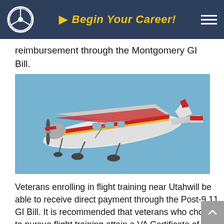Begin Your Career!
reimbursement through the Montgomery GI Bill.
[Figure (photo): A small white single-engine aircraft (Cessna-style) with red and yellow stripe markings, photographed in flight against a clear blue sky. Landing gear is deployed.]
Veterans enrolling in flight training near Utahwill be able to receive direct payment through the Post-9 11 GI Bill. It is recommended that veterans who choose to pursue flight training attain a VA Certificate of Eligibility to determine how and when military education benefits the...